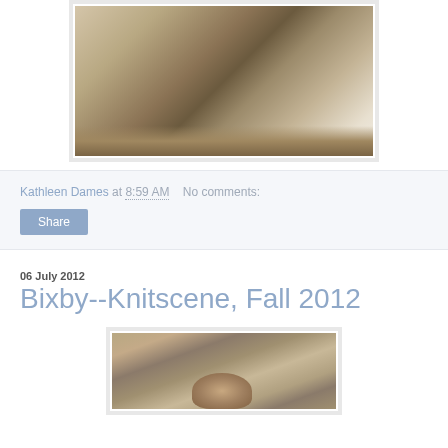[Figure (photo): Close-up photo of knitted fabric edge, brown/tan colored knitting on light gray fabric background]
Kathleen Dames at 8:59 AM   No comments:
[Figure (other): Share button]
06 July 2012
Bixby--Knitscene, Fall 2012
[Figure (photo): Photo of a person, partially visible, against a rustic wooden background]